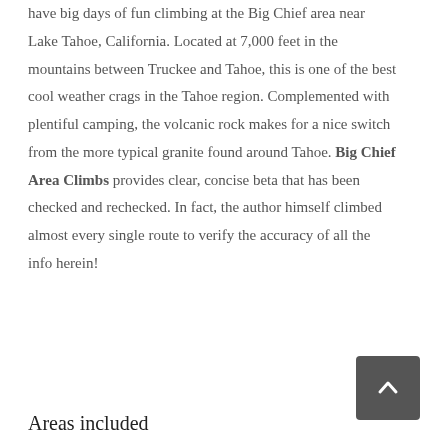have big days of fun climbing at the Big Chief area near Lake Tahoe, California. Located at 7,000 feet in the mountains between Truckee and Tahoe, this is one of the best cool weather crags in the Tahoe region. Complemented with plentiful camping, the volcanic rock makes for a nice switch from the more typical granite found around Tahoe. Big Chief Area Climbs provides clear, concise beta that has been checked and rechecked. In fact, the author himself climbed almost every single route to verify the accuracy of all the info herein!
Areas included